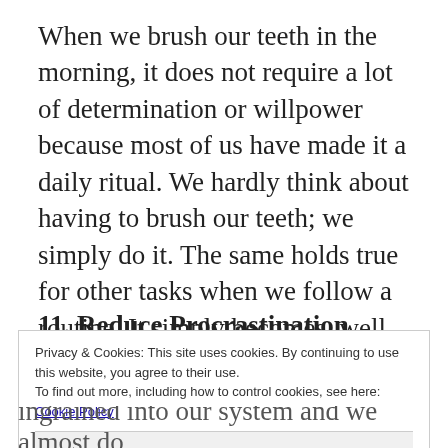When we brush our teeth in the morning, it does not require a lot of determination or willpower because most of us have made it a daily ritual. We hardly think about having to brush our teeth; we simply do it. The same holds true for other tasks when we follow a routine. It simply becomes, well, ‘routine’!
11. Reduce Procrastination
Privacy & Cookies: This site uses cookies. By continuing to use this website, you agree to their use.
To find out more, including how to control cookies, see here: Cookie Policy
Close and accept
ingrained into our system and we almost do